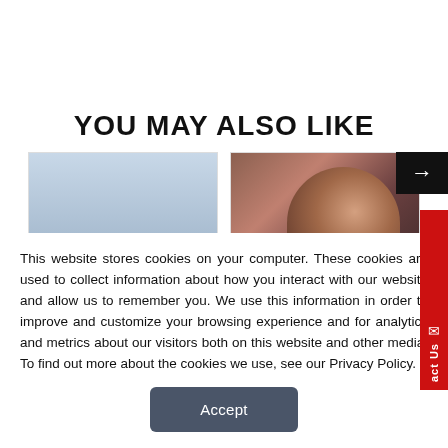YOU MAY ALSO LIKE
[Figure (photo): Landscape photo with sky and mountains, partially visible card]
[Figure (photo): Photo of a woman in an audience, partially visible card]
This website stores cookies on your computer. These cookies are used to collect information about how you interact with our website and allow us to remember you. We use this information in order to improve and customize your browsing experience and for analytics and metrics about our visitors both on this website and other media. To find out more about the cookies we use, see our Privacy Policy.
Accept